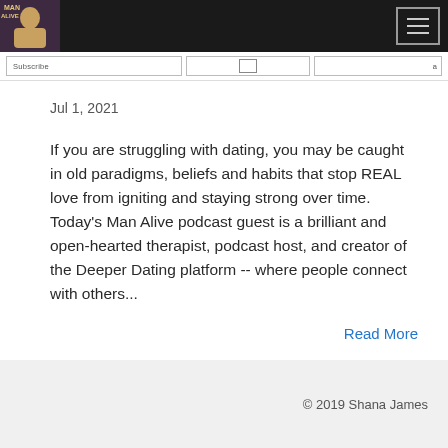Man Alive podcast — navigation header with logo and hamburger menu
Jul 1, 2021
If you are struggling with dating, you may be caught in old paradigms, beliefs and habits that stop REAL love from igniting and staying strong over time. Today's Man Alive podcast guest is a brilliant and open-hearted therapist, podcast host, and creator of the Deeper Dating platform -- where people connect with others...
Read More
© 2019 Shana James